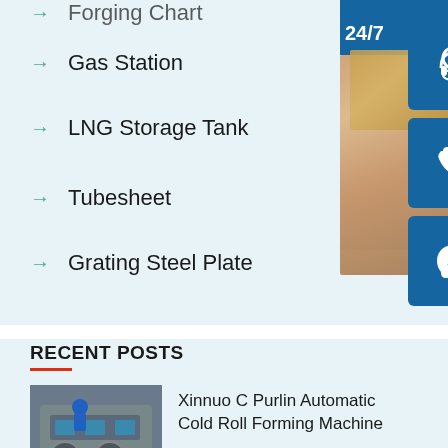Forging Chart
Gas Station
LNG Storage Tank
Tubesheet
Grating Steel Plate
[Figure (photo): Customer service representative with headset, 24/7 support banner with contact icons (headset, phone, Skype) and online live chat button]
RECENT POSTS
[Figure (photo): Thumbnail image of industrial machinery/cold roll forming equipment]
Xinnuo C Purlin Automatic Cold Roll Forming Machine